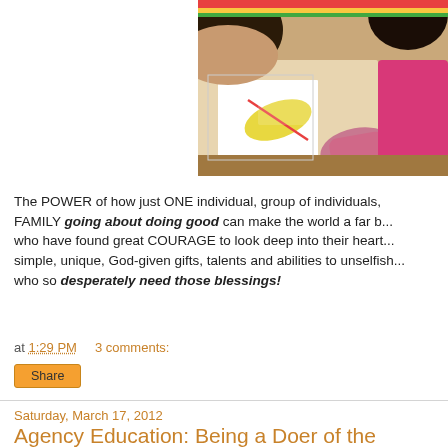[Figure (photo): Child drawing or coloring at a table, viewed from above, wearing a pink shirt]
The POWER of how just ONE individual, group of individuals, FAMILY going about doing good can make the world a far b... who have found great COURAGE to look deep into their heart... simple, unique, God-given gifts, talents and abilities to unselfish... who so desperately need those blessings!
at 1:29 PM   3 comments:
Share
Saturday, March 17, 2012
Agency Education: Being a Doer of the